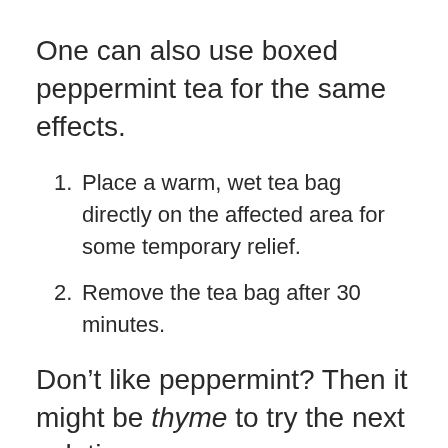One can also use boxed peppermint tea for the same effects.
Place a warm, wet tea bag directly on the affected area for some temporary relief.
Remove the tea bag after 30 minutes.
Don’t like peppermint? Then it might be thyme to try the next solution…